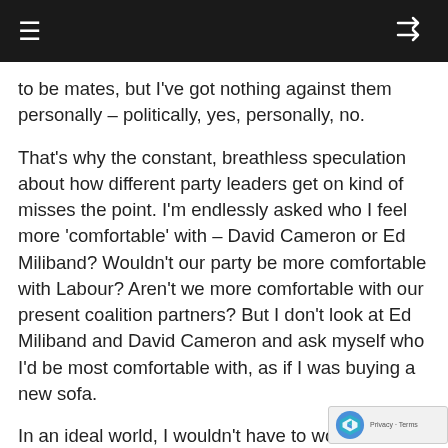to be mates, but I've got nothing against them personally – politically, yes, personally, no.
That's why the constant, breathless speculation about how different party leaders get on kind of misses the point. I'm endlessly asked who I feel more 'comfortable' with – David Cameron or Ed Miliband? Wouldn't our party be more comfortable with Labour? Aren't we more comfortable with our present coalition partners? But I don't look at Ed Miliband and David Cameron and ask myself who I'd be most comfortable with, as if I was buying a new sofa.
In an ideal world, I wouldn't have to work with either of them because I'd be Prime Minister on my own – thank you very much – and I'd like to think I'd do a